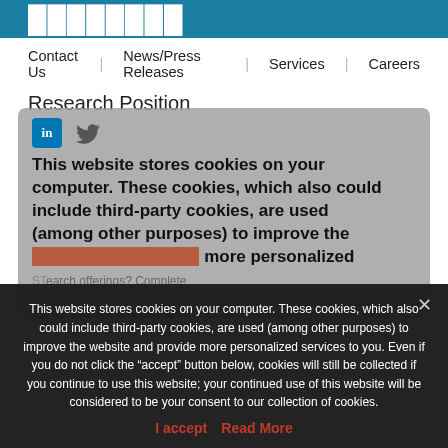[Figure (logo): Company logo bar in teal/dark blue with white text]
Contact Us   News/Press Releases   Services   Careers
Research Position
[Figure (screenshot): Gray overlay card with LinkedIn and Twitter icons and partial cookie/form text visible behind cookie banner]
This website stores cookies on your computer. These cookies, which also could include third-party cookies, are used (among other purposes) to improve the website and provide more personalized services to you. Even if you do not click the "accept" button below, cookies will still be collected if you continue to use this website; your continued use of this website will be considered to be your consent to our collection of cookies.
I accept   Read More